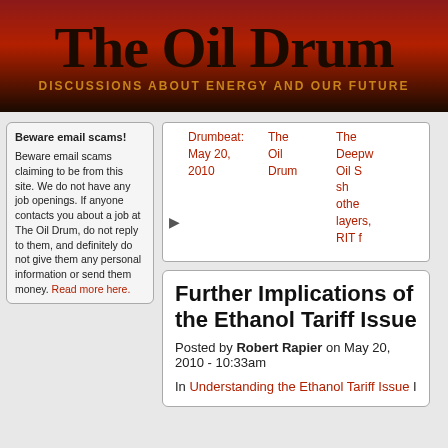The Oil Drum — DISCUSSIONS ABOUT ENERGY AND OUR FUTURE
Beware email scams! Beware email scams claiming to be from this site. We do not have any job openings. If anyone contacts you about a job at The Oil Drum, do not reply to them, and definitely do not give them any personal information or send them money. Read more here.
Drumbeat: May 20, 2010  |  The Oil Drum  |  The Deepwater Oil Spill showing other layers, RIT f...
Further Implications of the Ethanol Tariff Issue
Posted by Robert Rapier on May 20, 2010 - 10:33am
In Understanding the Ethanol Tariff Issue I